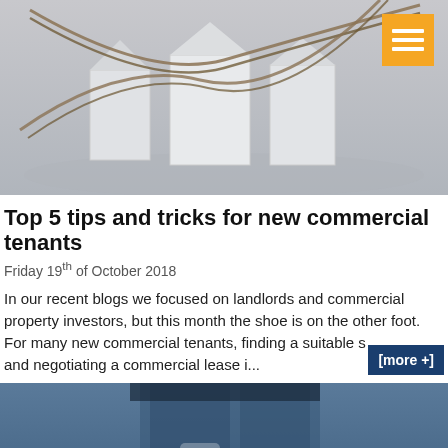[Figure (photo): White paper house models tied with rope/string on a grey background]
Top 5 tips and tricks for new commercial tenants
Friday 19th of October 2018
In our recent blogs we focused on landlords and commercial property investors, but this month the shoe is on the other foot. For many new commercial tenants, finding a suitable s and negotiating a commercial lease i...
[Figure (photo): Close-up of person's legs in jeans, partial view from below waist]